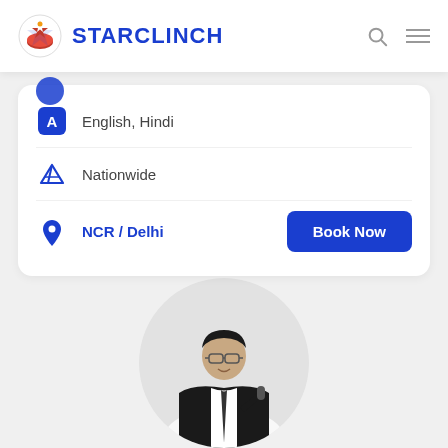STARCLINCH
English, Hindi
Nationwide
NCR / Delhi
[Figure (photo): Circular profile photo of a man in a black suit holding a microphone, smiling, wearing glasses]